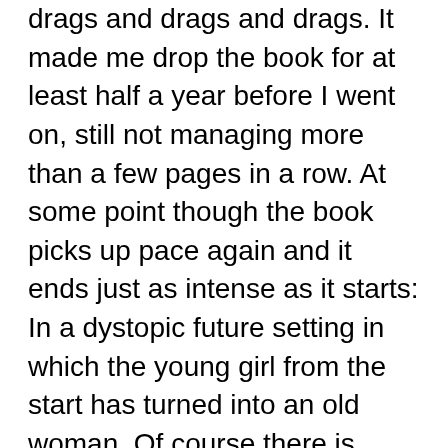drags and drags and drags. It made me drop the book for at least half a year before I went on, still not managing more than a few pages in a row. At some point though the book picks up pace again and it ends just as intense as it starts: In a dystopic future setting in which the young girl from the start has turned into an old woman. Of course there is magic too, a battle of parasitic timelords is the arc that is meant to hold the book together but, well, magic realism can get quite boring when it loses itself in endless new plots just to show how in the end the almighty author manages to show how everything is connected. I got a love/hate relationship with magic realism ever since I have read Rushdie's Midnight Children (which I liked). If you got no clue what magic realism is about, just check the magic realism bot on Twitter. It's the essence. Though he creates rich worlds and characters, in The Bone Clock Mitchell sometimes loses grip of the tension that holds a